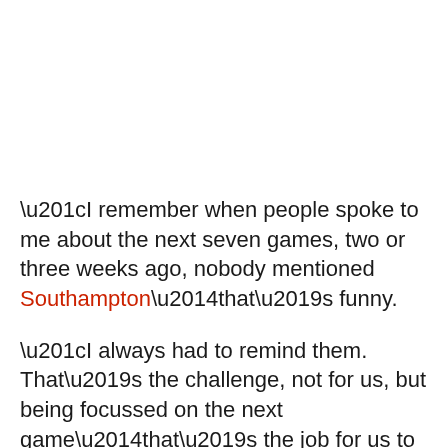“I remember when people spoke to me about the next seven games, two or three weeks ago, nobody mentioned Southampton—that’s funny.
“I always had to remind them. That’s the challenge, not for us, but being focussed on the next game—that’s the job for us to do.
“Working for the little advantages for us, really and in... finding different solutions, et ei...